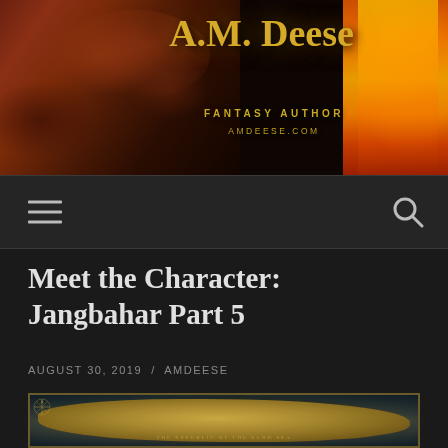[Figure (illustration): Website header banner for A.M. Deese Fantasy Author with dragon imagery on the left, fire on the right, gold stylized text 'A.M. Deese' with subtitle 'FANTASY AUTHOR' and 'AMDEESE.COM']
A.M. Deese FANTASY AUTHOR AMDEESE.COM
[Figure (illustration): Navigation bar with hamburger menu icon on the left and search icon on the right, dark background]
Meet the Character: Jangbahar Part 5
AUGUST 30, 2019 / AMDEESE
[Figure (map): Fantasy world map for The Republic of the Sand Sea, aged parchment style with compass rose in upper left, landmass in center with place names including FANOE and THE REPUBLIC OF THE SAND SEA]